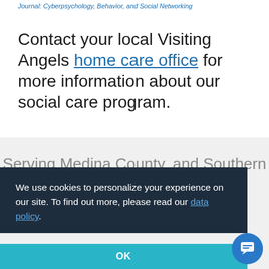Journal: Cyberpsychology, Behavior, and Social Networking
Contact your local Visiting Angels home care office for more information about our social care program.
Serving Medina County, and Southern Cuyahoga County.
We use cookies to personalize your experience on our site. To find out more, please read our data policy.
OK
Fax: 330-723-0331